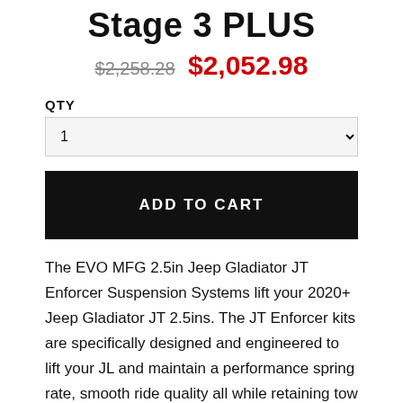Stage 3 PLUS
$2,258.28  $2,052.98
QTY
ADD TO CART
The EVO MFG 2.5in Jeep Gladiator JT Enforcer Suspension Systems lift your 2020+ Jeep Gladiator JT 2.5ins. The JT Enforcer kits are specifically designed and engineered to lift your JL and maintain a performance spring rate, smooth ride quality all while retaining tow capacities. These kits allow for